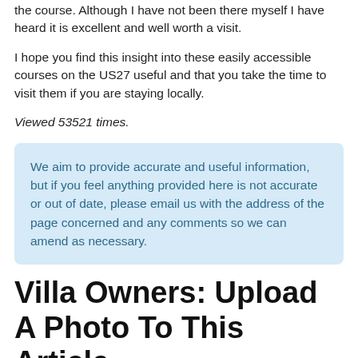the course. Although I have not been there myself I have heard it is excellent and well worth a visit.
I hope you find this insight into these easily accessible courses on the US27 useful and that you take the time to visit them if you are staying locally.
Viewed 53521 times.
We aim to provide accurate and useful information, but if you feel anything provided here is not accurate or out of date, please email us with the address of the page concerned and any comments so we can amend as necessary.
Villa Owners: Upload A Photo To This Article
To upload a photo for consideration, click here. Please